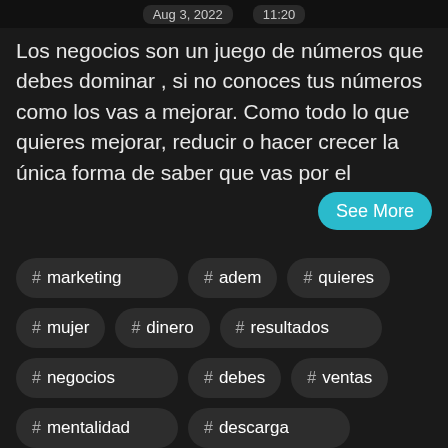Aug 3, 2022   11:20
Los negocios son un juego de números que debes dominar , si no conoces tus números como los vas a mejorar.  Como todo lo que quieres mejorar, reducir o hacer crecer la única forma de saber que vas por el
# marketing
# adem
# quieres
# mujer
# dinero
# resultados
# negocios
# debes
# ventas
# mentalidad
# descarga
# tu negocio
# medir